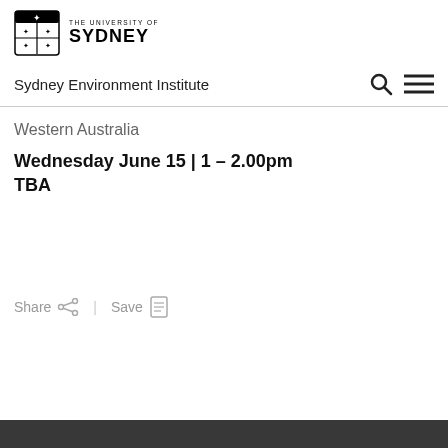[Figure (logo): The University of Sydney crest logo with shield and text]
Sydney Environment Institute
Western Australia
Wednesday June 15 | 1 – 2.00pm
TBA
Share  |  Save